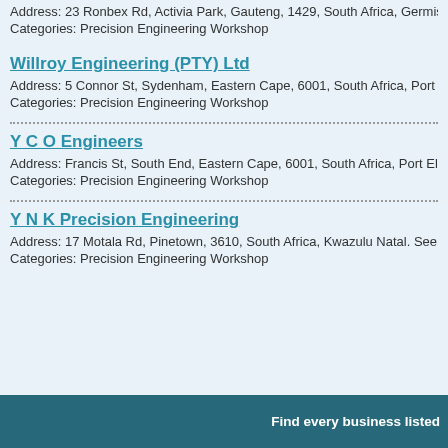Address: 23 Ronbex Rd, Activia Park, Gauteng, 1429, South Africa, Germisto...
Categories: Precision Engineering Workshop
Willroy Engineering (PTY) Ltd
Address: 5 Connor St, Sydenham, Eastern Cape, 6001, South Africa, Port Eli...
Categories: Precision Engineering Workshop
Y C O Engineers
Address: Francis St, South End, Eastern Cape, 6001, South Africa, Port Eliza...
Categories: Precision Engineering Workshop
Y N K Precision Engineering
Address: 17 Motala Rd, Pinetown, 3610, South Africa, Kwazulu Natal. See fu...
Categories: Precision Engineering Workshop
Find every business listed
about | contact |